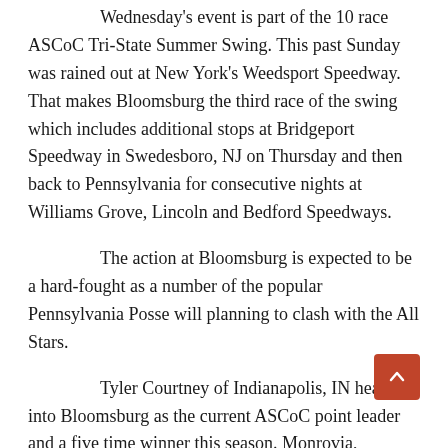Wednesday's event is part of the 10 race ASCoC Tri-State Summer Swing. This past Sunday was rained out at New York's Weedsport Speedway. That makes Bloomsburg the third race of the swing which includes additional stops at Bridgeport Speedway in Swedesboro, NJ on Thursday and then back to Pennsylvania for consecutive nights at Williams Grove, Lincoln and Bedford Speedways.
The action at Bloomsburg is expected to be a hard-fought as a number of the popular Pennsylvania Posse will planning to clash with the All Stars.
Tyler Courtney of Indianapolis, IN heads into Bloomsburg as the current ASCoC point leader and a five time winner this season. Monrovia, Indiana's Justin Peck is the most recent winner on the tour held on August 20 at Utica-Rome Speedway in Vernon, NY. Peck is also second in points.
Grandstands will open at 5:00 pm. Adult admission is $25,